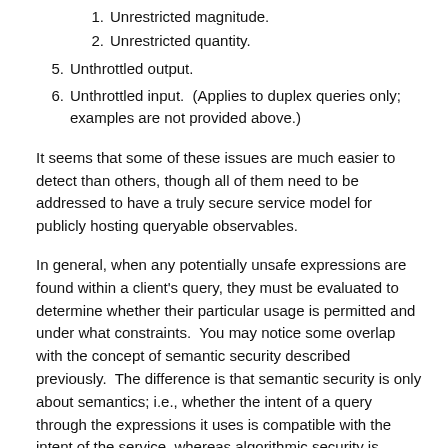1. Unrestricted magnitude.
2. Unrestricted quantity.
5. Unthrottled output.
6. Unthrottled input.  (Applies to duplex queries only; examples are not provided above.)
It seems that some of these issues are much easier to detect than others, though all of them need to be addressed to have a truly secure service model for publicly hosting queryable observables.
In general, when any potentially unsafe expressions are found within a client's query, they must be evaluated to determine whether their particular usage is permitted and under what constraints.  You may notice some overlap with the concept of semantic security described previously.  The difference is that semantic security is only about semantics; i.e., whether the intent of a query through the expressions it uses is compatible with the intent of the service, whereas algorithmic security is